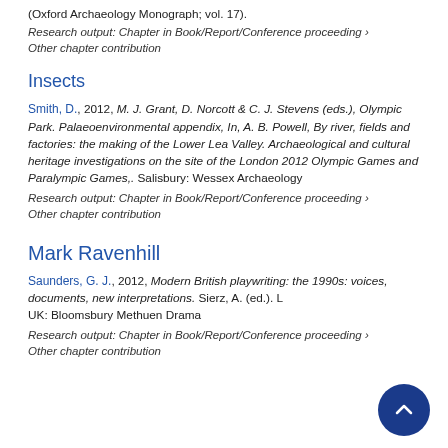(Oxford Archaeology Monograph; vol. 17).
Research output: Chapter in Book/Report/Conference proceeding › Other chapter contribution
Insects
Smith, D., 2012, M. J. Grant, D. Norcott & C. J. Stevens (eds.), Olympic Park. Palaeoenvironmental appendix, In, A. B. Powell, By river, fields and factories: the making of the Lower Lea Valley. Archaeological and cultural heritage investigations on the site of the London 2012 Olympic Games and Paralympic Games,. Salisbury: Wessex Archaeology
Research output: Chapter in Book/Report/Conference proceeding › Other chapter contribution
Mark Ravenhill
Saunders, G. J., 2012, Modern British playwriting: the 1990s: voices, documents, new interpretations. Sierz, A. (ed.). L UK: Bloomsbury Methuen Drama
Research output: Chapter in Book/Report/Conference proceeding › Other chapter contribution